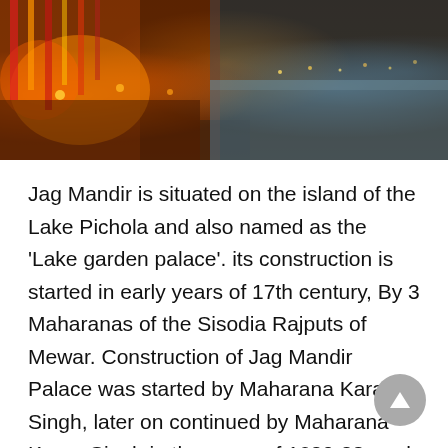[Figure (photo): Photograph of Jag Mandir palace on Lake Pichola at dusk, showing orange and red festive decorations/flags on the left side and calm water with distant shoreline lights on the right side.]
Jag Mandir is situated on the island of the Lake Pichola and also named as the 'Lake garden palace'. its construction is started in early years of 17th century, By 3 Maharanas of the Sisodia Rajputs of Mewar. Construction of Jag Mandir Palace was started by Maharana Karan Singh, later on continued by Maharana Karan Singh in the years of 1620-28, and completed by Maharana Jagat Singh in the years of 1628–1652
Eklingji Temple